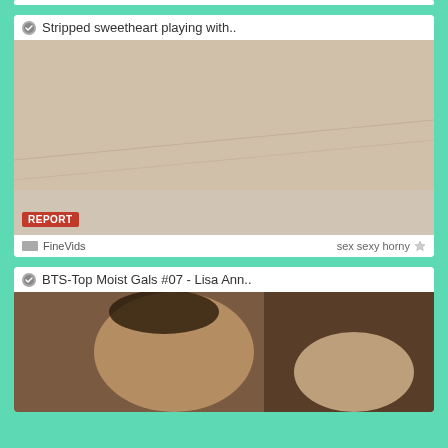[Figure (screenshot): Top sliver of a video card partially visible at the top of the page]
Stripped sweetheart playing with..
[Figure (photo): Thumbnail image for video titled 'Stripped sweetheart playing with..' showing adult content. Has a red REPORT badge in the bottom-left corner.]
FineVids   sex sexy horny
BTS-Top Moist Gals #07 - Lisa Ann..
[Figure (photo): Thumbnail image for video titled 'BTS-Top Moist Gals #07 - Lisa Ann..' showing adult content, partially visible.]